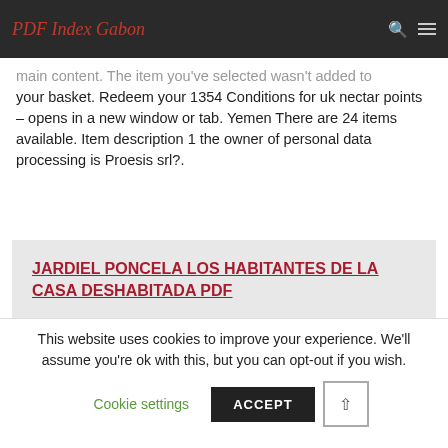PDF Index Gabon
main content. The item you've selected wasn't added to your basket. Redeem your 1354 Conditions for uk nectar points – opens in a new window or tab. Yemen There are 24 items available. Item description 1 the owner of personal data processing is Proesis srl?.
JARDIEL PONCELA LOS HABITANTES DE LA CASA DESHABITADA PDF
This website uses cookies to improve your experience. We'll assume you're ok with this, but you can opt-out if you wish.
Cookie settings  ACCEPT